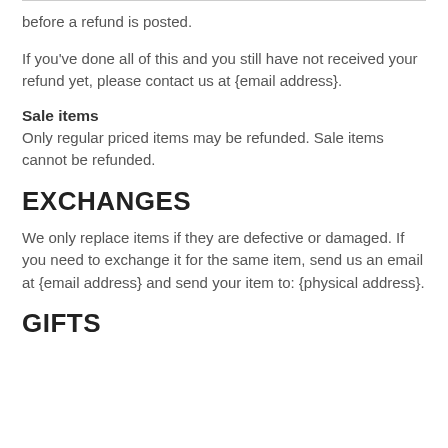before a refund is posted.
If you've done all of this and you still have not received your refund yet, please contact us at {email address}.
Sale items
Only regular priced items may be refunded. Sale items cannot be refunded.
EXCHANGES
We only replace items if they are defective or damaged. If you need to exchange it for the same item, send us an email at {email address} and send your item to: {physical address}.
GIFTS